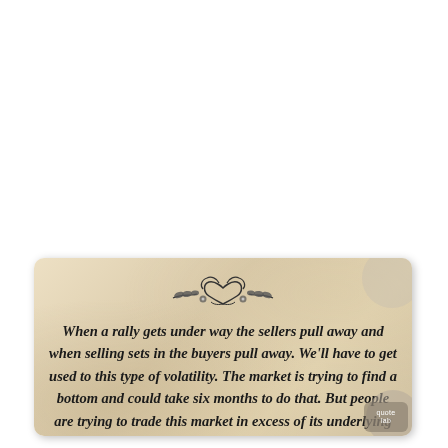[Figure (illustration): Quote card with parchment/vintage background texture, decorative floral and heart ornament at top, containing an italic script quote about market volatility and trading fundamentals. A 'quote lab' watermark badge appears in the bottom right corner.]
When a rally gets under way the sellers pull away and when selling sets in the buyers pull away. We'll have to get used to this type of volatility. The market is trying to find a bottom and could take six months to do that. But people are trying to trade this market in excess of its underlying fundamentals.